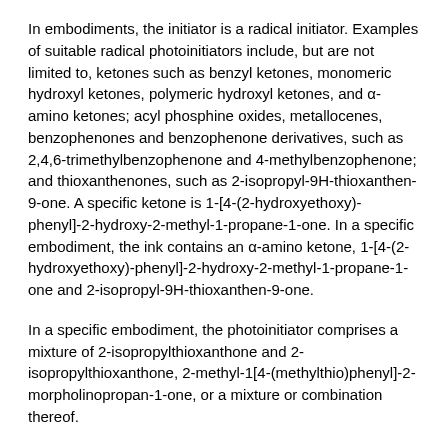In embodiments, the initiator is a radical initiator. Examples of suitable radical photoinitiators include, but are not limited to, ketones such as benzyl ketones, monomeric hydroxyl ketones, polymeric hydroxyl ketones, and α-amino ketones; acyl phosphine oxides, metallocenes, benzophenones and benzophenone derivatives, such as 2,4,6-trimethylbenzophenone and 4-methylbenzophenone; and thioxanthenones, such as 2-isopropyl-9H-thioxanthen-9-one. A specific ketone is 1-[4-(2-hydroxyethoxy)-phenyl]-2-hydroxy-2-methyl-1-propane-1-one. In a specific embodiment, the ink contains an α-amino ketone, 1-[4-(2-hydroxyethoxy)-phenyl]-2-hydroxy-2-methyl-1-propane-1-one and 2-isopropyl-9H-thioxanthen-9-one.
In a specific embodiment, the photoinitiator comprises a mixture of 2-isopropylthioxanthone and 2-isopropylthioxanthone, 2-methyl-1[4-(methylthio)phenyl]-2-morpholinopropan-1-one, or a mixture or combination thereof.
In another embodiment, the photoinitiator comprises at least one of bis acyl phosphine photoinitiator comprising bis(2,4,6-trimethyl benzoyl)-phenylphosphineoxide, melting